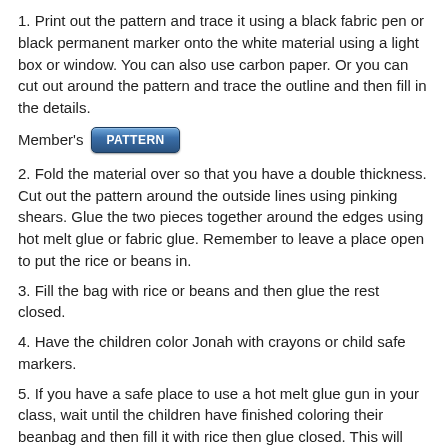1. Print out the pattern and trace it using a black fabric pen or black permanent marker onto the white material using a light box or window. You can also use carbon paper. Or you can cut out around the pattern and trace the outline and then fill in the details.
Member's PATTERN
2. Fold the material over so that you have a double thickness. Cut out the pattern around the outside lines using pinking shears. Glue the two pieces together around the edges using hot melt glue or fabric glue. Remember to leave a place open to put the rice or beans in.
3. Fill the bag with rice or beans and then glue the rest closed.
4. Have the children color Jonah with crayons or child safe markers.
5. If you have a safe place to use a hot melt glue gun in your class, wait until the children have finished coloring their beanbag and then fill it with rice then glue closed. This will make it a little easier to color.